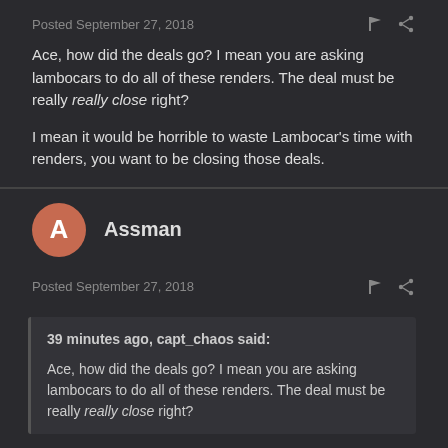Posted September 27, 2018
Ace, how did the deals go?  I mean you are asking lambocars to do all of these renders.  The deal must be really really close right?

I mean it would be horrible to waste Lambocar's time with renders, you want to be closing those deals.
A
Assman
Posted September 27, 2018
39 minutes ago, capt_chaos said:

Ace, how did the deals go?  I mean you are asking lambocars to do all of these renders.  The deal must be really really close right?